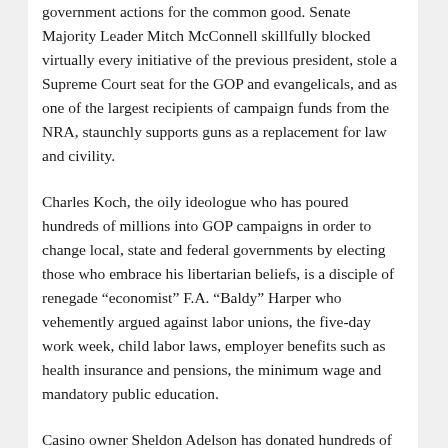government actions for the common good. Senate Majority Leader Mitch McConnell skillfully blocked virtually every initiative of the previous president, stole a Supreme Court seat for the GOP and evangelicals, and as one of the largest recipients of campaign funds from the NRA, staunchly supports guns as a replacement for law and civility.
Charles Koch, the oily ideologue who has poured hundreds of millions into GOP campaigns in order to change local, state and federal governments by electing those who embrace his libertarian beliefs, is a disciple of renegade “economist” F.A. “Baldy” Harper who vehemently argued against labor unions, the five-day work week, child labor laws, employer benefits such as health insurance and pensions, the minimum wage and mandatory public education.
Casino owner Sheldon Adelson has donated hundreds of millions to GOP candidates who will remake the US government in the mold of Benjamin Netanyahu's Israeli administration – an administration whose vision of peace